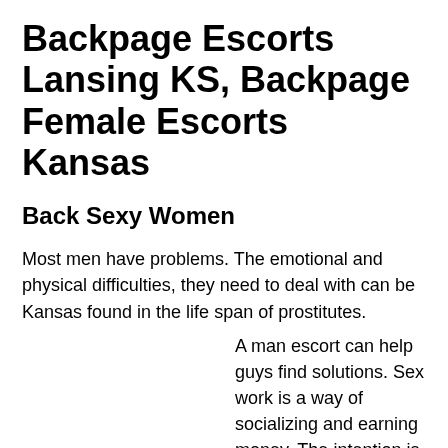Backpage Escorts Lansing KS, Backpage Female Escorts Kansas
Back Sexy Women
Most men have problems. The emotional and physical difficulties, they need to deal with can be Kansas found in the life span of prostitutes.
A man escort can help guys find solutions. Sex work is a way of socializing and earning money. The intention is to